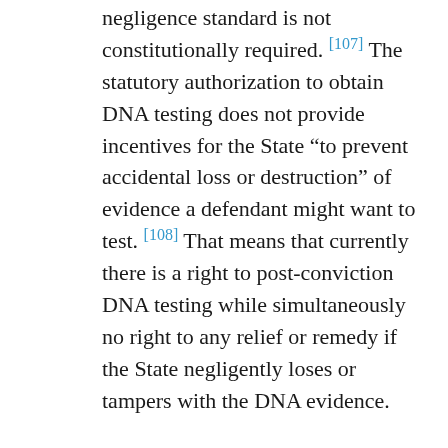negligence standard is not constitutionally required. [107] The statutory authorization to obtain DNA testing does not provide incentives for the State “to prevent accidental loss or destruction” of evidence a defendant might want to test. [108] That means that currently there is a right to post-conviction DNA testing while simultaneously no right to any relief or remedy if the State negligently loses or tampers with the DNA evidence.

How is something a right if it cannot be legally protected? The Supreme Court posed that very question in District Attorney’s Office v. Osborne where they examined